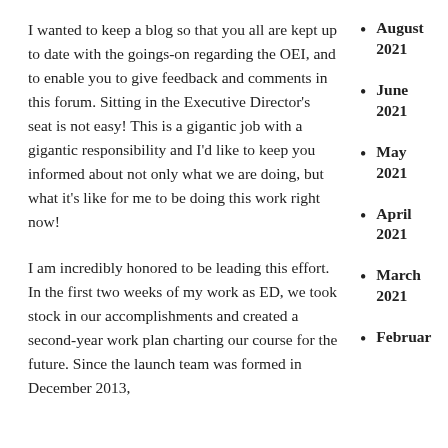I wanted to keep a blog so that you all are kept up to date with the goings-on regarding the OEI, and to enable you to give feedback and comments in this forum. Sitting in the Executive Director's seat is not easy! This is a gigantic job with a gigantic responsibility and I'd like to keep you informed about not only what we are doing, but what it's like for me to be doing this work right now!
I am incredibly honored to be leading this effort. In the first two weeks of my work as ED, we took stock in our accomplishments and created a second-year work plan charting our course for the future. Since the launch team was formed in December 2013,
August 2021
June 2021
May 2021
April 2021
March 2021
Februar